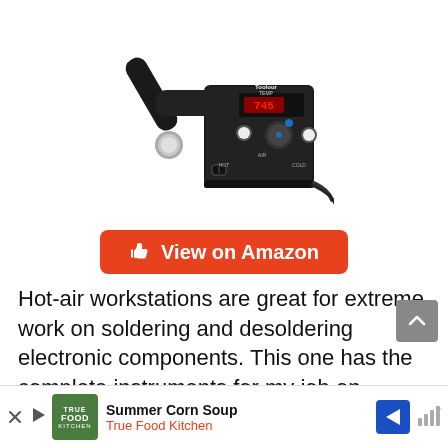[Figure (photo): Photo of a Toolour hot-air workstation/soldering station, black box with digital temperature display, knobs, and attached hot-air gun with metal nozzle.]
[Figure (other): Orange rounded rectangle button with thumbs-up icon and text 'View on Amazon']
Hot-air workstations are great for extreme work on soldering and desoldering electronic components. This one has the complete instruments for my job on repairing and maintenance of printed circuit working boards... right this
[Figure (other): Advertisement bar at bottom: True Food Kitchen - Summer Corn Soup, with logo, navigation arrow icon, and sound/menu icon]